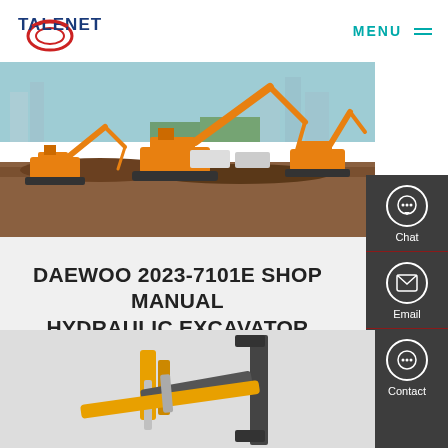TALENET | MENU
[Figure (photo): Construction site with multiple orange hydraulic excavators operating on a large earthmoving project with city skyline and trees in background]
DAEWOO 2023-7101E SHOP MANUAL HYDRAULIC EXCAVATOR SOLAR
[Figure (photo): Yellow hydraulic excavator arm/boom detail with hydraulic cylinders visible against light background]